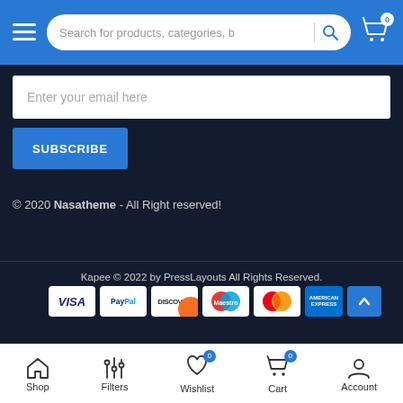Search for products, categories, b
Enter your email here
SUBSCRIBE
© 2020 Nasatheme - All Right reserved!
Kapee © 2022 by PressLayouts All Rights Reserved.
[Figure (infographic): Payment method logos: VISA, PayPal, Discover, Maestro, MasterCard, American Express]
Shop | Filters | Wishlist 0 | Cart 0 | Account